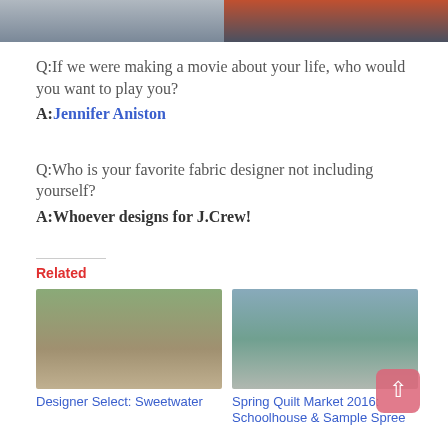[Figure (photo): Two sports/action photos side by side at the top of the page]
Q:If we were making a movie about your life, who would you want to play you?
A:Jennifer Aniston
Q:Who is your favorite fabric designer not including yourself?
A:Whoever designs for J.Crew!
Related
[Figure (photo): Photo of two women outdoors in a field, related article thumbnail for Designer Select: Sweetwater]
Designer Select: Sweetwater
[Figure (photo): Photo of group of women in teal t-shirts standing outside, related article thumbnail for Spring Quilt Market 2016]
Spring Quilt Market 2016: Schoolhouse & Sample Spree